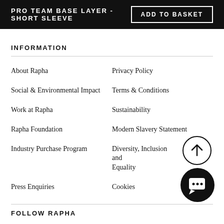PRO TEAM BASE LAYER - SHORT SLEEVE | ADD TO BASKET
INFORMATION
About Rapha
Privacy Policy
Social & Environmental Impact
Terms & Conditions
Work at Rapha
Sustainability
Rapha Foundation
Modern Slavery Statement
Industry Purchase Program
Diversity, Inclusion and Equality
Press Enquiries
Cookies
[Figure (illustration): Back to top arrow button - circle with upward arrow]
[Figure (illustration): Chat/message button - dark circle with chat bubble icon]
FOLLOW RAPHA